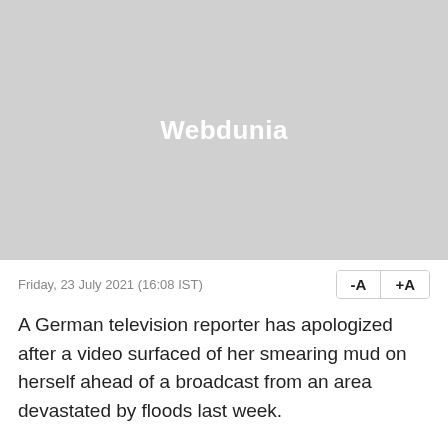[Figure (illustration): Gray placeholder image with centered white text reading 'Webdunia']
Friday, 23 July 2021 (16:08 IST)
A German television reporter has apologized after a video surfaced of her smearing mud on herself ahead of a broadcast from an area devastated by floods last week.